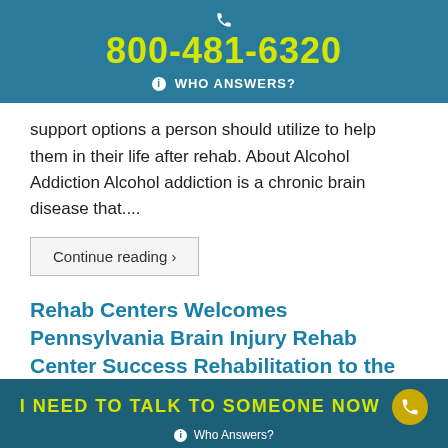800-481-6320 WHO ANSWERS?
support options a person should utilize to help them in their life after rehab. About Alcohol Addiction Alcohol addiction is a chronic brain disease that....
Continue reading ›
Rehab Centers Welcomes Pennsylvania Brain Injury Rehab Center Success Rehabilitation to the Network
[Figure (photo): Circular swirl logo/image for Brain Injury Rehab Center]
I NEED TO TALK TO SOMEONE NOW  Who Answers?